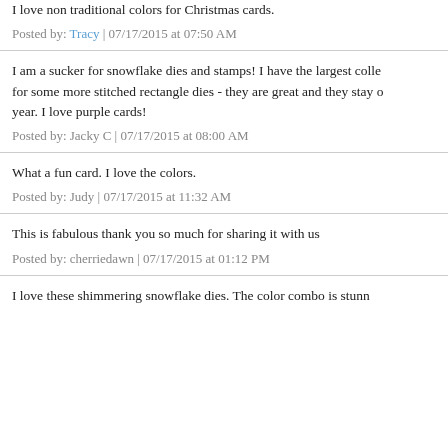I love non traditional colors for Christmas cards.
Posted by: Tracy | 07/17/2015 at 07:50 AM
I am a sucker for snowflake dies and stamps! I have the largest colle... for some more stitched rectangle dies - they are great and they stay o... year. I love purple cards!
Posted by: Jacky C | 07/17/2015 at 08:00 AM
What a fun card. I love the colors.
Posted by: Judy | 07/17/2015 at 11:32 AM
This is fabulous thank you so much for sharing it with us
Posted by: cherriedawn | 07/17/2015 at 01:12 PM
I love these shimmering snowflake dies. The color combo is stunn...